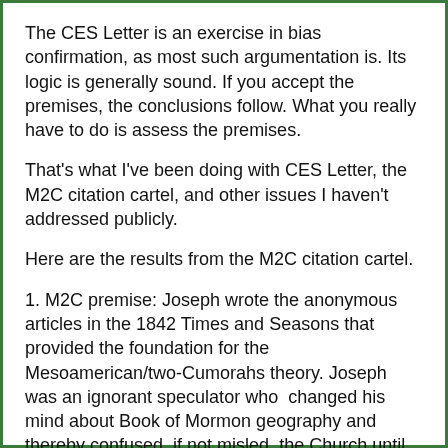The CES Letter is an exercise in bias confirmation, as most such argumentation is. Its logic is generally sound. If you accept the premises, the conclusions follow. What you really have to do is assess the premises.
That's what I've been doing with CES Letter, the M2C citation cartel, and other issues I haven't addressed publicly.
Here are the results from the M2C citation cartel.
1. M2C premise: Joseph wrote the anonymous articles in the 1842 Times and Seasons that provided the foundation for the Mesoamerican/two-Cumorahs theory. Joseph was an ignorant speculator who  changed his mind about Book of Mormon geography and thereby confused, if not misled, the Church until LDS scholars rescued everyone with the M2C theory.
IMO, the facts contradict that premise on many levels, but basically I think Benjamin Winchester wrote the articles, that William Smith was the acting editor of the paper, and that W.W. Phelps and others also contributed [content cut off]